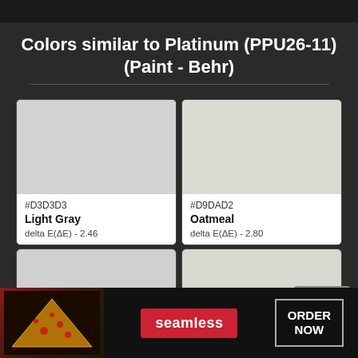Colors similar to Platinum (PPU26-11) (Paint - Behr)
[Figure (infographic): Two color swatches in grid layout. Left: #D3D3D3 Light Gray, delta E(ΔE) - 2.46. Right: #D9DAD2 Oatmeal, delta E(ΔE) - 2.80. Two more partial swatches below.]
[Figure (infographic): Advertisement banner for Seamless food delivery with pizza image and ORDER NOW button.]